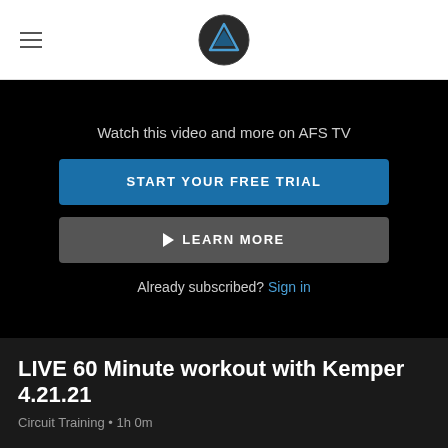AFS TV logo and navigation header
Watch this video and more on AFS TV
START YOUR FREE TRIAL
▷ LEARN MORE
Already subscribed? Sign in
LIVE 60 Minute workout with Kemper 4.21.21
Circuit Training • 1h 0m